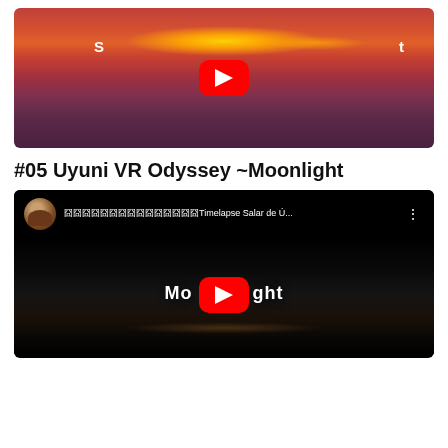[Figure (screenshot): YouTube video thumbnail showing a sunset/sunrise sky with red and orange clouds, with a YouTube play button overlay and partial white text on either side of the button]
#05 Uyuni VR Odyssey ~Moonlight
[Figure (screenshot): YouTube video embed showing a dark night scene with 'Moonlight' text visible and a YouTube play button overlay. Channel header shows avatar and title '囧囧囧囧囧囧囧囧囧囧囧囧囧囧囧Timelapse Salar de Ú...' with menu dots]